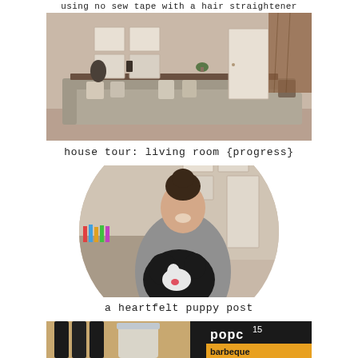using no sew tape with a hair straightener
[Figure (photo): Interior photo of a living room with a large grey sectional sofa, framed photo gallery wall, and window with curtain]
house tour: living room {progress}
[Figure (photo): Circular cropped photo of a woman smiling and holding a black and white dog in a home interior]
a heartfelt puppy post
[Figure (photo): Partial photo showing kitchen items and a barbeque popcorn bag with the word barbeque visible]